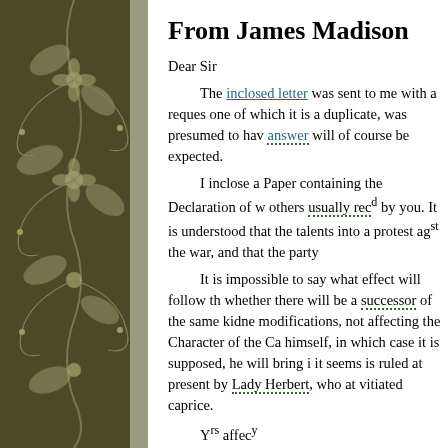[Figure (illustration): Dark olive/brown floral/paisley decorative pattern panel on the left side of the page]
From James Madison
Dear Sir

    The inclosed letter was sent to me with a reques... one of which it is a duplicate, was presumed to have... answer will of course be expected.

    I inclose a Paper containing the Declaration of w... others usually rec'd by you. It is understood that the... talents into a protest ag^st the war, and that the party...

    It is impossible to say what effect will follow th... whether there will be a successor of the same kidne... modifications, not affecting the Character of the Ca... himself, in which case it is supposed, he will bring i... it seems is ruled at present by Lady Herbert, who at... vitiated caprice.

    Y^rs affec^y
RC (DLC: Madison Papers); endorsed by T... 1812 and so recorded in SJL. Enclosure: Elbric...
Knowing that TJ usually received the Wash... sent the 20 June 1812 issue stating that war w...